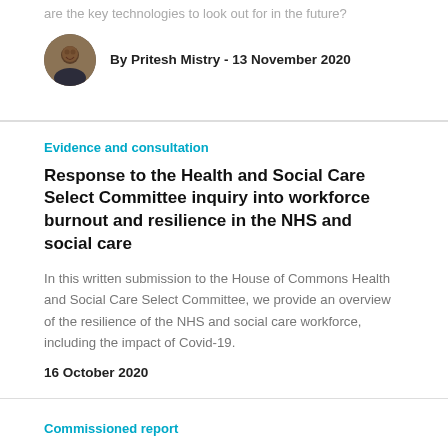are the key technologies to look out for in the future?
By Pritesh Mistry - 13 November 2020
Evidence and consultation
Response to the Health and Social Care Select Committee inquiry into workforce burnout and resilience in the NHS and social care
In this written submission to the House of Commons Health and Social Care Select Committee, we provide an overview of the resilience of the NHS and social care workforce, including the impact of Covid-19.
16 October 2020
Commissioned report